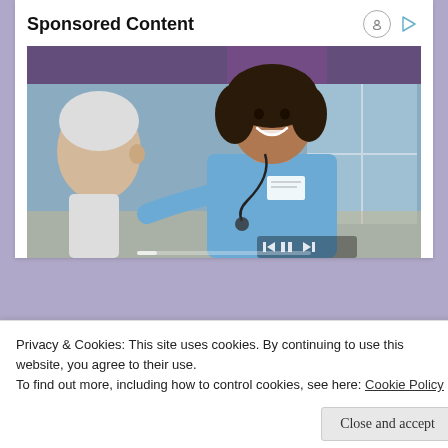Sponsored Content
[Figure (photo): A smiling female nurse in blue scrubs with a stethoscope attending to an elderly male patient in a healthcare setting. She is leaning toward him warmly. There is a window with a view in the background and purple curtains.]
Privacy & Cookies: This site uses cookies. By continuing to use this website, you agree to their use.
To find out more, including how to control cookies, see here: Cookie Policy
Close and accept